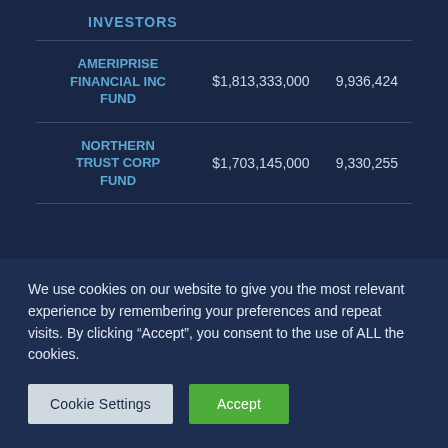INVESTORS
|  |  |  |
| --- | --- | --- |
| AMERIPRISE FINANCIAL INC FUND | $1,813,333,000 | 9,936,424 |
| NORTHERN TRUST CORP FUND | $1,703,145,000 | 9,330,255 |
We use cookies on our website to give you the most relevant experience by remembering your preferences and repeat visits. By clicking “Accept”, you consent to the use of ALL the cookies.
Cookie Settings | Accept